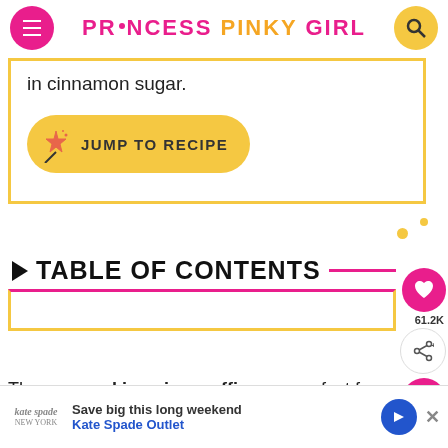PRINCESS PINKY GIRL
in cinnamon sugar.
JUMP TO RECIPE
TABLE OF CONTENTS
These pumpkin spice muffins are perfect for fa... So moist, filled with pumpkin, and topped with ci... the...
Save big this long weekend Kate Spade Outlet